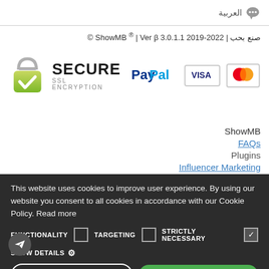العربية (chat icon)
© ShowMB ® | Ver β 3.0.1.1 2019-2022 | صنع بحب
[Figure (logo): Secure SSL Encryption badge with padlock and checkmark, PayPal logo, VISA logo, MasterCard logo]
ShowMB
FAQs
Plugins
Influencer Marketing
This website uses cookies to improve user experience. By using our website you consent to all cookies in accordance with our Cookie Policy. Read more
FUNCTIONALITY  ☐  TARGETING  ☐  STRICTLY NECESSARY  ☑
SHOW DETAILS ⚙
DECLINE ALL
ACCEPT ALL
POWERED BY COOKIE-SCRIPT